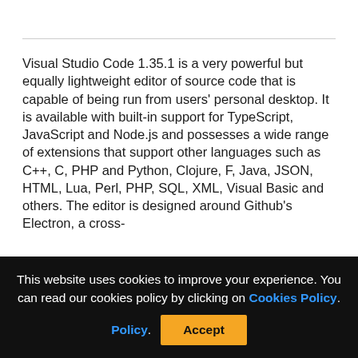Visual Studio Code 1.35.1 is a very powerful but equally lightweight editor of source code that is capable of being run from users' personal desktop. It is available with built-in support for TypeScript, JavaScript and Node.js and possesses a wide range of extensions that support other languages such as C++, C, PHP and Python, Clojure, F, Java, JSON, HTML, Lua, Perl, PHP, SQL, XML, Visual Basic and others. The editor is designed around Github's Electron, a cross-
This website uses cookies to improve your experience. You can read our cookies policy by clicking on Cookies Policy. Accept